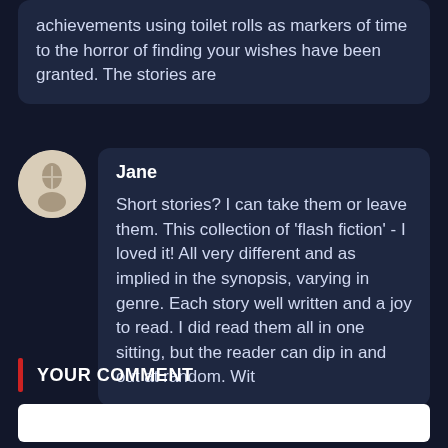achievements using toilet rolls as markers of time to the horror of finding your wishes have been granted. The stories are
Jane
Short stories? I can take them or leave them. This collection of 'flash fiction' - I loved it! All very different and as implied in the synopsis, varying in genre. Each story well written and a joy to read. I did read them all in one sitting, but the reader can dip in and out at random. Wit
YOUR COMMENT